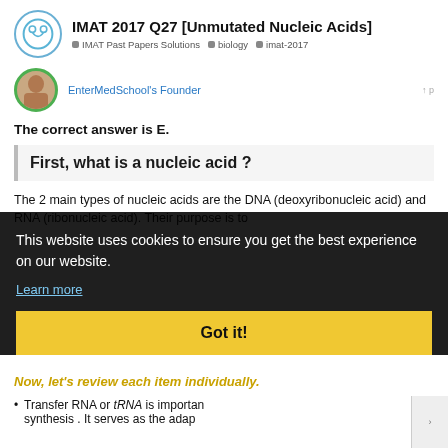IMAT 2017 Q27 [Unmutated Nucleic Acids] | IMAT Past Papers Solutions | biology | imat-2017
EnterMedSchool's Founder
The correct answer is E.
First, what is a nucleic acid ?
The 2 main types of nucleic acids are the DNA (deoxyribonucleic acid) and RNA (ribonucleic acid). Their purpose is to
This website uses cookies to ensure you get the best experience on our website. Learn more
Now, let's review each item individually.
Transfer RNA or tRNA is important synthesis . It serves as the adap